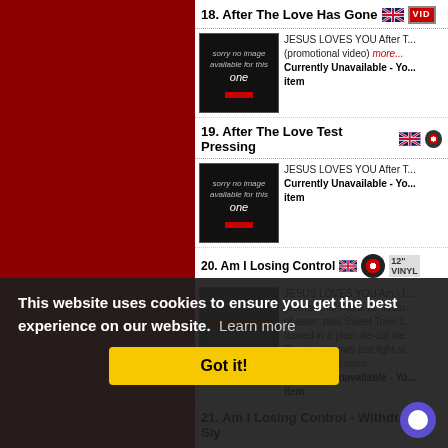18. After The Love Has Gone
[Figure (photo): Sorry no image available for this one - placeholder thumbnail]
JESUS LOVES YOU After The Love Has Gone (promotional video) more... Currently Unavailable - You can still order this item
19. After The Love Test Pressing
[Figure (photo): Sorry no image available for this one - placeholder thumbnail]
JESUS LOVES YOU After The Love... Currently Unavailable - You can still order this item
20. Am I Losing Control
[Figure (photo): Partially visible product image thumbnail]
JESUS LOVES YOU Am I Losing Control promotional video 12" features of eater, plus Sweet Toxic Love. Issued in a plain die-cut sleeve. The vinyl shows just light sl... VSTDJ1449) more... Currently Unavailable - You can still order this item
This website uses cookies to ensure you get the best experience on our website. Learn more
Got it!
21. Am I Losing Control - Withdrawn Sly